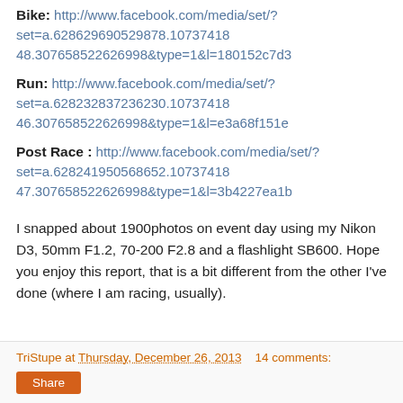Bike: http://www.facebook.com/media/set/?set=a.628629690529878.10737418 48.307658522626998&type=1&l=180152c7d3
Run: http://www.facebook.com/media/set/?set=a.628232837236230.10737418 46.307658522626998&type=1&l=e3a68f151e
Post Race : http://www.facebook.com/media/set/?set=a.628241950568652.10737418 47.307658522626998&type=1&l=3b4227ea1b
I snapped about 1900photos on event day using my Nikon D3, 50mm F1.2, 70-200 F2.8 and a flashlight SB600. Hope you enjoy this report, that is a bit different from the other I've done (where I am racing, usually).
TriStupe at Thursday, December 26, 2013   14 comments: